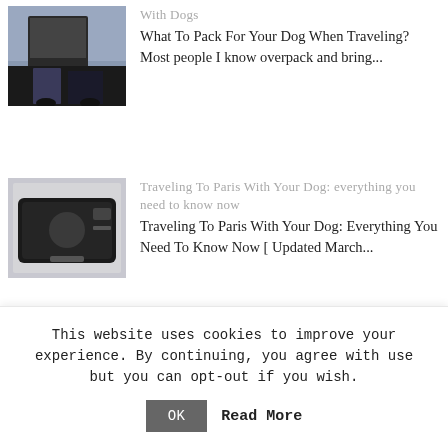[Figure (photo): Partial view of person with luggage, jeans and dark shoes visible]
With Dogs
What To Pack For Your Dog When Traveling? Most people I know overpack and bring...
[Figure (photo): Black pet carrier bag on white surface]
Traveling To Paris With Your Dog: everything you need to know now
Traveling To Paris With Your Dog: Everything You Need To Know Now [ Updated March...
[Figure (photo): Tan/beige colored pet travel bed or carrier]
Ultimate Guide To Travel Hacks
This website uses cookies to improve your experience. By continuing, you agree with use but you can opt-out if you wish.